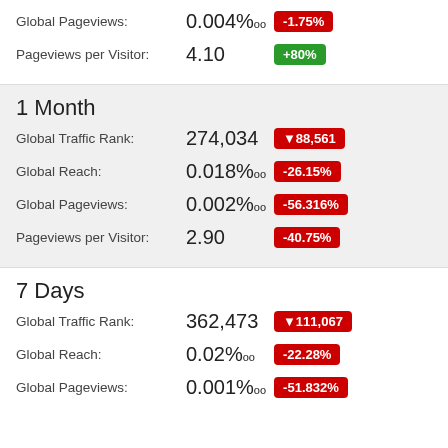Global Pageviews: 0.004‰ -1.75%
Pageviews per Visitor: 4.10 +80%
1 Month
Global Traffic Rank: 274,034 ▼88,561
Global Reach: 0.018‰ -26.15%
Global Pageviews: 0.002‰ -56.316%
Pageviews per Visitor: 2.90 -40.75%
7 Days
Global Traffic Rank: 362,473 ▼111,067
Global Reach: 0.02‰ -22.28%
Global Pageviews: 0.001‰ -51.832%